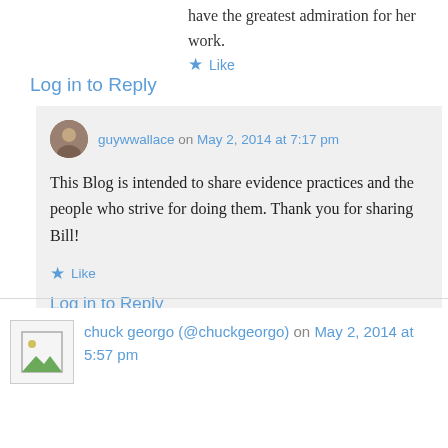have the greatest admiration for her work.
★ Like
Log in to Reply
guywwallace on May 2, 2014 at 7:17 pm
This Blog is intended to share evidence practices and the people who strive for doing them. Thank you for sharing Bill!
★ Like
Log in to Reply
chuck georgo (@chuckgeorgo) on May 2, 2014 at 5:57 pm